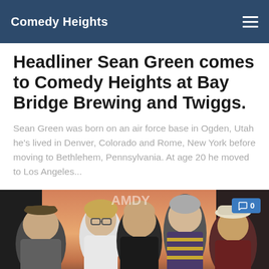Comedy Heights
Headliner Sean Green comes to Comedy Heights at Bay Bridge Brewing and Twiggs.
Sean Green was born on an air force base in Ogden, Utah he's lived in Denver, Colorado and Rome, New York before moving to Bethlehem, Pennsylvania. At age 20 he moved to Los Angeles...
[Figure (photo): Group photo of five people posing together in front of a Comedy Heights banner backdrop. From left: a heavyset man in a cap and grey shirt, a blonde woman with glasses, a bald man in a black shirt, a tall older man in a striped polo, and a man in a fedora hat. A blue comment badge showing '0' appears in the upper right.]